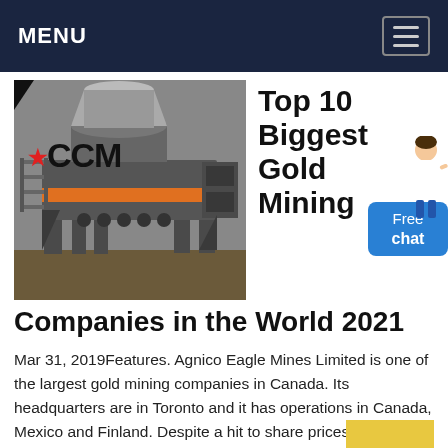MENU
[Figure (photo): Photo of a large industrial gold mining machine (crusher/grinder), dark grey metal, with CCM logo overlaid in large text on the image.]
Top 10 Biggest Gold Mining Companies in the World 2021
Mar 31, 2019Features. Agnico Eagle Mines Limited is one of the largest gold mining companies in Canada. Its headquarters are in Toronto and it has operations in Canada, Mexico and Finland. Despite a hit to share prices early in 2018, the company's share value has climbed by 18 percent since 2014.